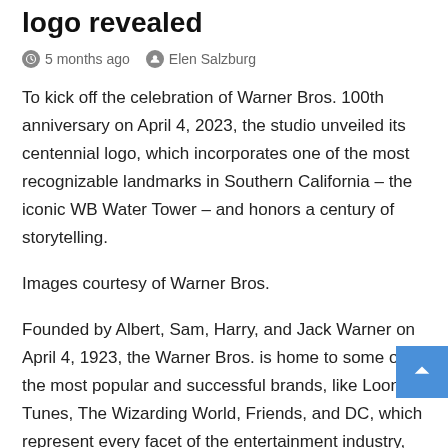logo revealed
5 months ago   Elen Salzburg
To kick off the celebration of Warner Bros. 100th anniversary on April 4, 2023, the studio unveiled its centennial logo, which incorporates one of the most recognizable landmarks in Southern California – the iconic WB Water Tower – and honors a century of storytelling.
Images courtesy of Warner Bros.
Founded by Albert, Sam, Harry, and Jack Warner on April 4, 1923, the Warner Bros. is home to some of the most popular and successful brands, like Looney Tunes, The Wizarding World, Friends, and DC, which represent every facet of the entertainment industry, from feature films and television to animation, comic books, and video games.
In addition, the studio library of more than 145,000 h...